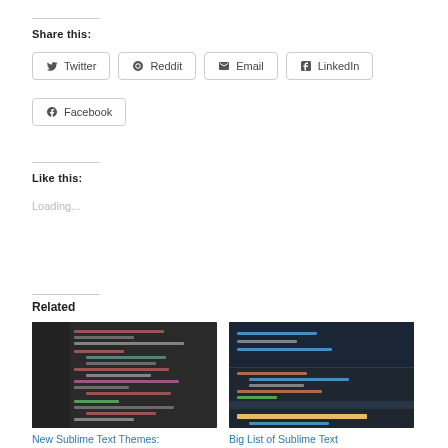Share this:
Twitter
Reddit
Email
LinkedIn
Facebook
Like this:
Loading...
Related
[Figure (screenshot): Screenshot of a dark-themed code editor showing Sublime Text theme]
New Sublime Text Themes:
[Figure (screenshot): Screenshot of a dark-themed code editor showing Sublime Text]
Big List of Sublime Text